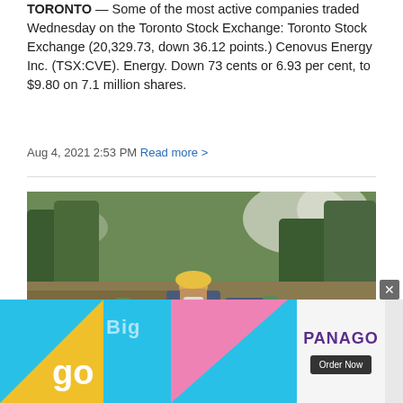TORONTO — Some of the most active companies traded Wednesday on the Toronto Stock Exchange: Toronto Stock Exchange (20,329.73, down 36.12 points.) Cenovus Energy Inc. (TSX:CVE). Energy. Down 73 cents or 6.93 per cent, to $9.80 on 7.1 million shares.
Aug 4, 2021 2:53 PM Read more >
[Figure (photo): A person wearing a yellow hard hat, face mask, and work clothes with green gloves appears to be working in a smoky forested hillside area with brush and trees, smoke visible in the background.]
[Figure (infographic): Panago pizza advertisement banner with cyan/blue background, yellow triangle, pink triangle, the word 'go' in large white text and 'Big' in light text. Right side shows 'PANAGO' in purple text and an 'Order Now' button on a light grey background.]